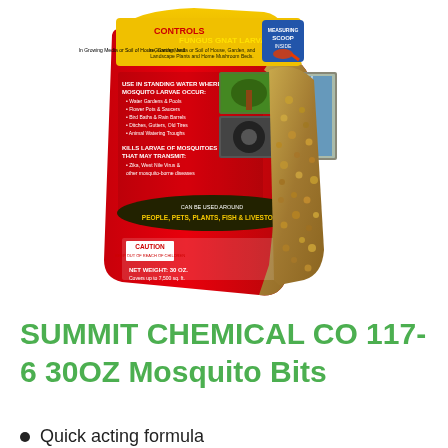[Figure (photo): Red bag of Summit Chemical Co 117-6 30oz Mosquito Bits product showing front label with text about controlling fungus gnat larvae and mosquito larvae, with images of garden water features on the label]
SUMMIT CHEMICAL CO 117-6 30OZ Mosquito Bits
Quick acting formula